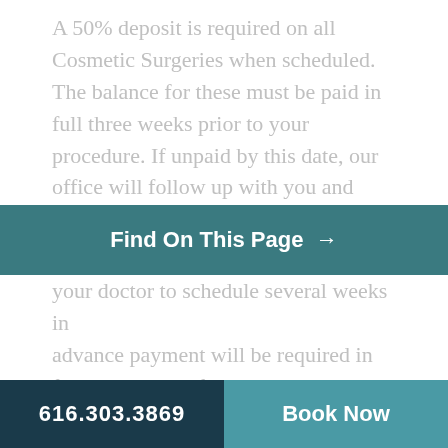A 50% deposit is required on all Cosmetic Surgeries when scheduled. The balance for these must be paid in full three weeks prior to your procedure. If unpaid by this date, our office will follow up with you and reserves the
Find On This Page →
your doctor to schedule several weeks in advance payment will be required in full at the time of scheduling. We understand that a situation could arise which would require you to postpone your surgery.
However, please understand that a cancellation/postponement affects many individuals including the plastic surgeons scheduled for your procedure as well as other patients. Therefore, we would
616.303.3869   Book Now